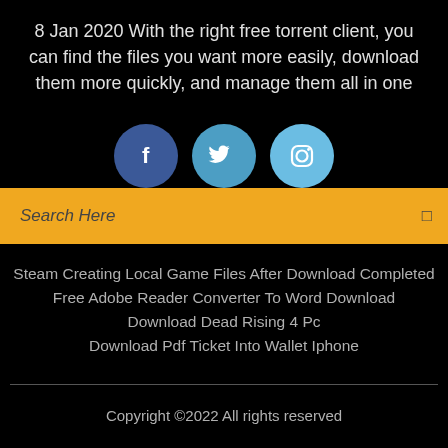8 Jan 2020 With the right free torrent client, you can find the files you want more easily, download them more quickly, and manage them all in one
[Figure (infographic): Three social media icon circles: Facebook (dark blue), Twitter (medium blue), Instagram (light blue)]
Search Here
Steam Creating Local Game Files After Download Completed
Free Adobe Reader Converter To Word Download
Download Dead Rising 4 Pc
Download Pdf Ticket Into Wallet Iphone
Copyright ©2022 All rights reserved